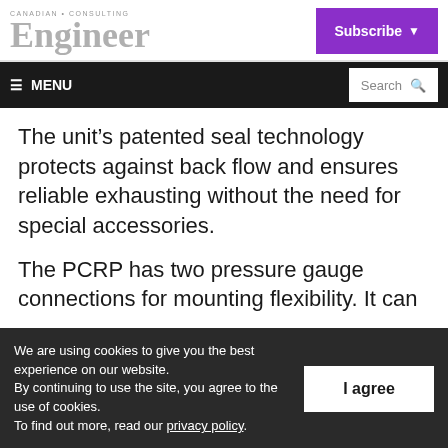Canadian Consulting Engineer | Subscribe
≡ MENU | Search
The unit's patented seal technology protects against back flow and ensures reliable exhausting without the need for special accessories.
The PCRP has two pressure gauge connections for mounting flexibility. It can be installed in-
We are using cookies to give you the best experience on our website.
By continuing to use the site, you agree to the use of cookies.
To find out more, read our privacy policy.